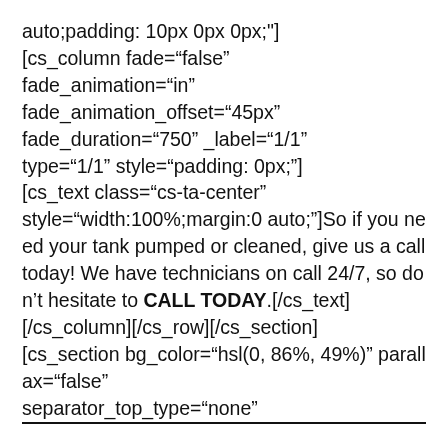auto;padding: 10px 0px 0px;"] [cs_column fade="false" fade_animation="in" fade_animation_offset="45px" fade_duration="750" _label="1/1" type="1/1" style="padding: 0px;"] [cs_text class="cs-ta-center" style="width:100%;margin:0 auto;"]So if you need your tank pumped or cleaned, give us a call today! We have technicians on call 24/7, so don't hesitate to CALL TODAY.[/cs_text] [/cs_column][/cs_row][/cs_section] [cs_section bg_color="hsl(0, 86%, 49%)" parallax="false" separator_top_type="none"